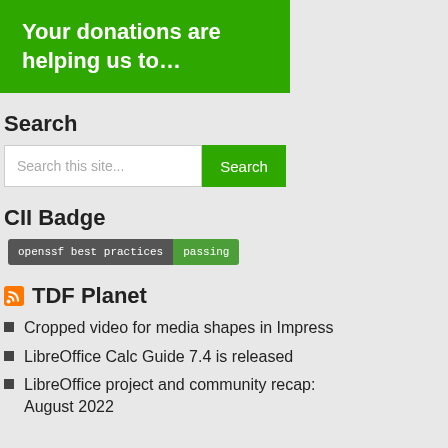[Figure (illustration): Green banner with white bold text: 'Your donations are helping us to...']
Search
[Figure (screenshot): Search bar with placeholder 'Search this site...' and a green Search button]
CII Badge
[Figure (screenshot): OpenSSF best practices badge showing 'openssf best practices' on dark background and 'passing' on green background]
TDF Planet
Cropped video for media shapes in Impress
LibreOffice Calc Guide 7.4 is released
LibreOffice project and community recap: August 2022